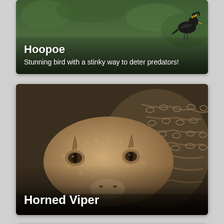[Figure (photo): Hoopoe bird card with dark green background, bird silhouette in top right, white title 'Hoopoe' and subtitle 'Stunning bird with a stinky way to deter predators!']
[Figure (photo): Close-up photo of a Horned Viper snake face showing textured sandy-brown scales and characteristic horns above the eyes, coiled body visible in background. Card title 'Horned Viper' in white text at bottom.]
[Figure (photo): Partially visible third animal card at bottom of page, light gray/white background, content cut off.]